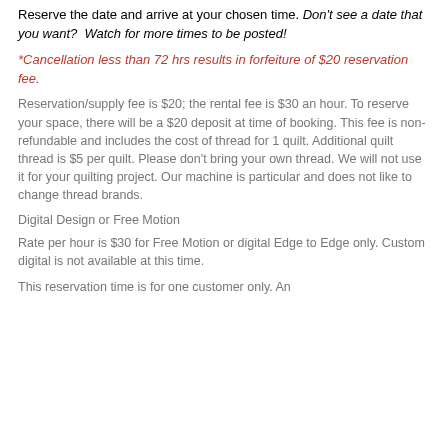Reserve the date and arrive at your chosen time. Don't see a date that you want?  Watch for more times to be posted!
*Cancellation less than 72 hrs results in forfeiture of $20 reservation fee.
Reservation/supply fee is $20; the rental fee is $30 an hour. To reserve your space, there will be a $20 deposit at time of booking. This fee is non-refundable and includes the cost of thread for 1 quilt. Additional quilt thread is $5 per quilt. Please don't bring your own thread. We will not use it for your quilting project. Our machine is particular and does not like to change thread brands.
Digital Design or Free Motion
Rate per hour is $30 for Free Motion or digital Edge to Edge only. Custom digital is not available at this time.
This reservation time is for one customer only. An